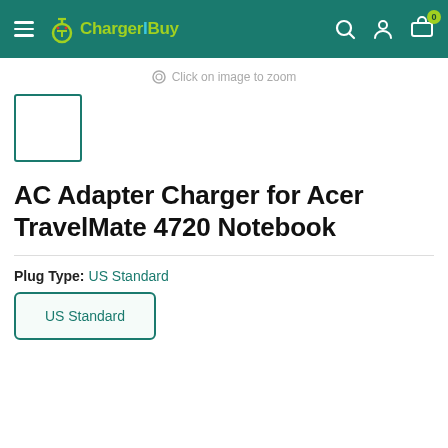ChargerBuy - navigation bar with hamburger menu, logo, search, account, and cart icons
Click on image to zoom
[Figure (photo): Small product thumbnail placeholder box with teal border]
AC Adapter Charger for Acer TravelMate 4720 Notebook
Plug Type: US Standard
US Standard